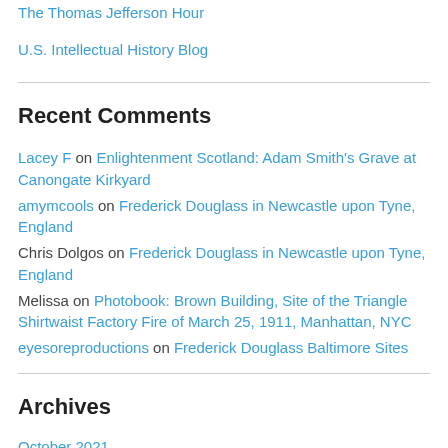The Thomas Jefferson Hour
U.S. Intellectual History Blog
Recent Comments
Lacey F on Enlightenment Scotland: Adam Smith's Grave at Canongate Kirkyard
amymcools on Frederick Douglass in Newcastle upon Tyne, England
Chris Dolgos on Frederick Douglass in Newcastle upon Tyne, England
Melissa on Photobook: Brown Building, Site of the Triangle Shirtwaist Factory Fire of March 25, 1911, Manhattan, NYC
eyesoreproductions on Frederick Douglass Baltimore Sites
Archives
October 2021
March 2021
November 2020
April 2020